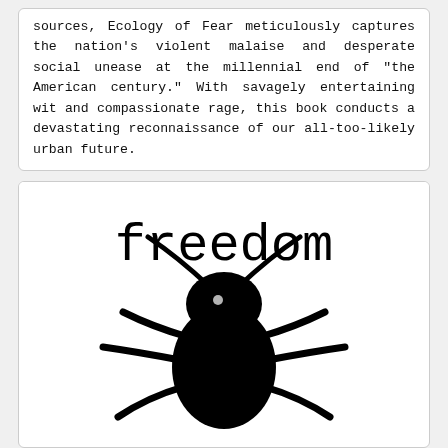sources, Ecology of Fear meticulously captures the nation's violent malaise and desperate social unease at the millennial end of "the American century." With savagely entertaining wit and compassionate rage, this book conducts a devastating reconnaissance of our all-too-likely urban future.
[Figure (illustration): Black and white illustration showing the word 'freedom' in a monospace font above a large black silhouette of an insect (appears to be a cockroach or beetle) viewed from above, with legs spread out.]